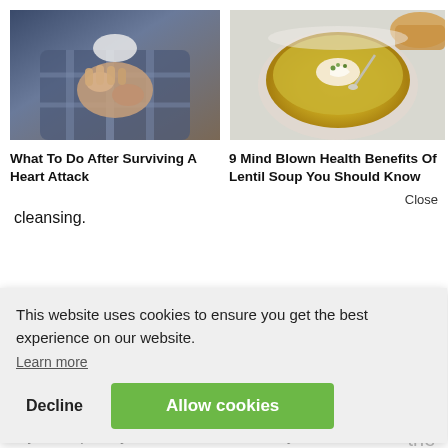[Figure (photo): Man holding his chest, suggesting heart attack symptoms, wearing a plaid shirt]
[Figure (photo): Bowl of yellow/green lentil soup with cream swirl and herbs, with bread in background]
What To Do After Surviving A Heart Attack
9 Mind Blown Health Benefits Of Lentil Soup You Should Know
Close
cleansing.
ect
For
eek
-the-
This website uses cookies to ensure you get the best experience on our website.
Learn more
Decline
Allow cookies
Try to keep away from medications and synthetic